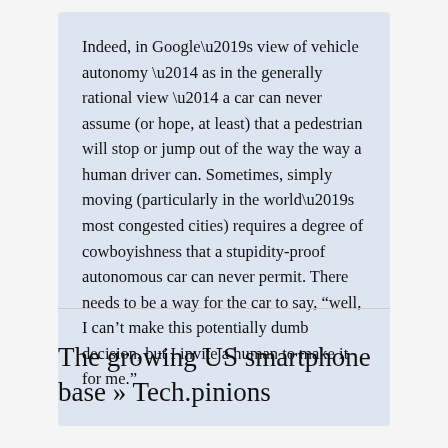Indeed, in Google’s view of vehicle autonomy — as in the generally rational view — a car can never assume (or hope, at least) that a pedestrian will stop or jump out of the way the way a human driver can. Sometimes, simply moving (particularly in the world’s most congested cities) requires a degree of cowboyishness that a stupidity-proof autonomous car can never permit. There needs to be a way for the car to say, “well, I can’t make this potentially dumb decision, but I invite a human to make it for me.”
The growing US smartphone base » Tech.pinions